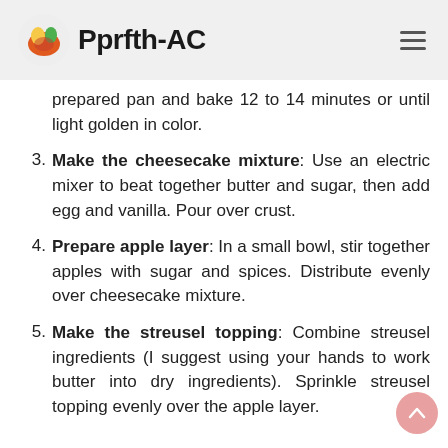Pprfth-AC
prepared pan and bake 12 to 14 minutes or until light golden in color.
3. Make the cheesecake mixture: Use an electric mixer to beat together butter and sugar, then add egg and vanilla. Pour over crust.
4. Prepare apple layer: In a small bowl, stir together apples with sugar and spices. Distribute evenly over cheesecake mixture.
5. Make the streusel topping: Combine streusel ingredients (I suggest using your hands to work butter into dry ingredients). Sprinkle streusel topping evenly over the apple layer.